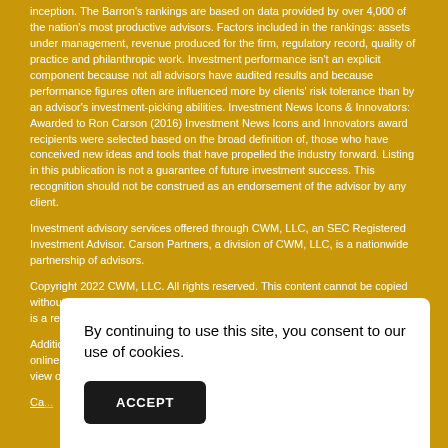inception. The Barron's rankings are based on data provided by over 4,000 of the nation's most productive advisors. Factors included in the rankings: assets under management, revenue produced for the firm, regulatory record, quality of practice and philanthropic work. Investment performance isn't an explicit component because not all advisors have audited results and because performance figures often are influenced more by clients' risk tolerance than by an advisor's investment-picking abilities. Investment News Icons & Innovators: Awarded to Ron Carson (2016) Investment News Icons and Innovators award recipients were selected based on the broad definition of, those who have conceived new ideas and tools that have propelled the industry forward. Listing in this publication is not a guarantee of future investment success. This recognition should not be construed as an endorsement of the advisor by any client.
Investment advisory services offered through CWM, LLC, an SEC Registered Investment Advisor. Carson Partners, a division of CWM, LLC, is a nationwide partnership of advisors.
Copyright 2022 CWM, LLC. All rights reserved. This content cannot be copied without express written consent of CWM, LLC. Wealth Designed. Life Defined. is a registered trademark of CWM, LLC and may not be duplicated.
Additional information about CWM, LLC and our advisors is also available online at www.adviserinfo.sec.gov or https://brokercheck.finra.org/. You can view our firm's information on this website by searching for CWM, LLC or by our CRD number 155344.
Car...
By continuing to use this site, you consent to our use of cookies.
ACCEPT